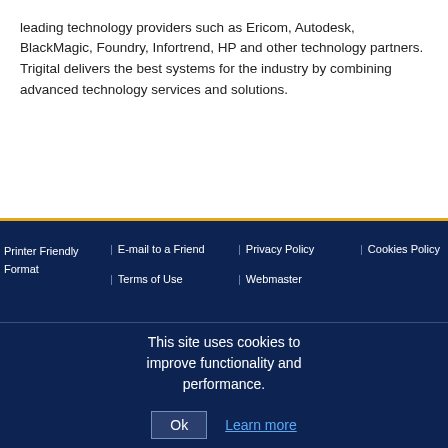leading technology providers such as Ericom, Autodesk, BlackMagic, Foundry, Infortrend, HP and other technology partners. Trigital delivers the best systems for the industry by combining advanced technology services and solutions.
Printer Friendly Format | E-mail to a Friend | Privacy Policy | Cookies Policy | Terms of Use | Webmaster
This site uses cookies to improve functionality and performance.
Ok   Learn more